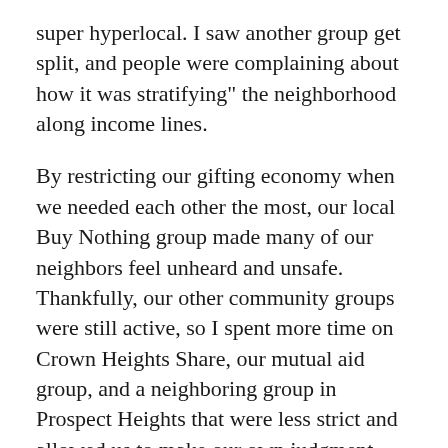super hyperlocal. I saw another group get split, and people were complaining about how it was stratifying" the neighborhood along income lines.
By restricting our gifting economy when we needed each other the most, our local Buy Nothing group made many of our neighbors feel unheard and unsafe. Thankfully, our other community groups were still active, so I spent more time on Crown Heights Share, our mutual aid group, and a neighboring group in Prospect Heights that were less strict and allowed us to make our own judgment calls. Through divesting from the Buy Nothing model, we were able to define our own rules, communicate our needs, and connect in a more open way with neighbors we had come to know through the pandemic. It gave me hope to see everyone so